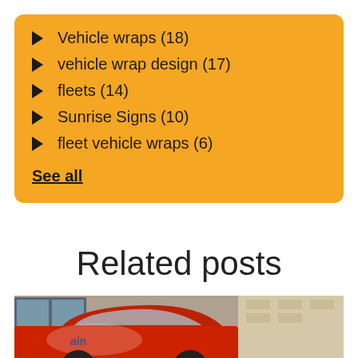Vehicle wraps (18)
vehicle wrap design (17)
fleets (14)
Sunrise Signs (10)
fleet vehicle wraps (6)
See all
Related posts
[Figure (photo): Photo of a red wrapped vehicle parked near a building]